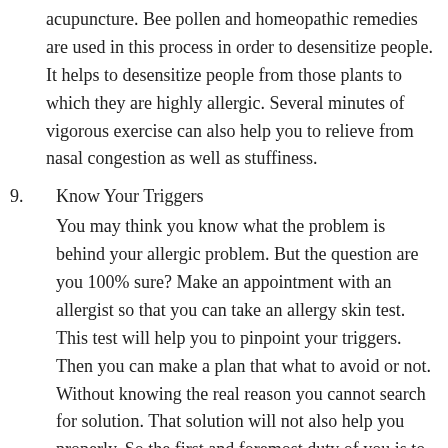acupuncture. Bee pollen and homeopathic remedies are used in this process in order to desensitize people. It helps to desensitize people from those plants to which they are highly allergic. Several minutes of vigorous exercise can also help you to relieve from nasal congestion as well as stuffiness.
9. Know Your Triggers
You may think you know what the problem is behind your allergic problem. But the question are you 100% sure? Make an appointment with an allergist so that you can take an allergy skin test. This test will help you to pinpoint your triggers. Then you can make a plan that what to avoid or not. Without knowing the real reason you cannot search for solution. That solution will not also help you properly. So the first and foremost duty of you is to know your triggers, to know the main reason.
10. [partial — title cut off]